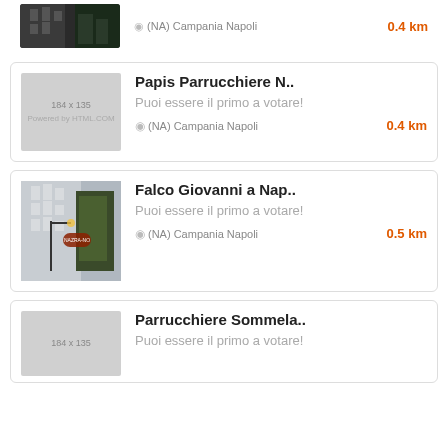[Figure (photo): Partial view of a building photo at the top of the page]
(NA) Campania Napoli   0.4 km
Papis Parrucchiere N..
Puoi essere il primo a votare!
(NA) Campania Napoli   0.4 km
Falco Giovanni a Nap..
Puoi essere il primo a votare!
(NA) Campania Napoli   0.5 km
Parrucchiere Sommela..
Puoi essere il primo a votare!